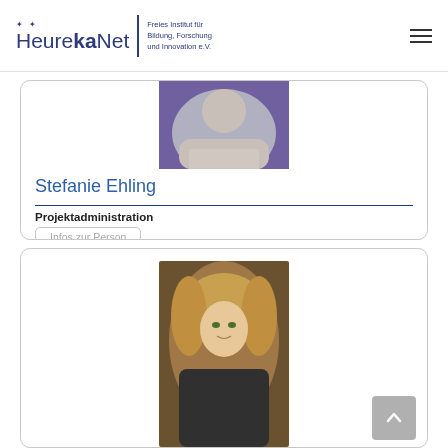HeurekaNet | Freies Institut für Bildung, Forschung und Innovation e.V.
[Figure (photo): Partial portrait photo of Stefanie Ehling against purple/grey background]
Stefanie Ehling
Projektadministration
Infos zur Person
[Figure (photo): Portrait photo of a woman with blonde hair against dark background]